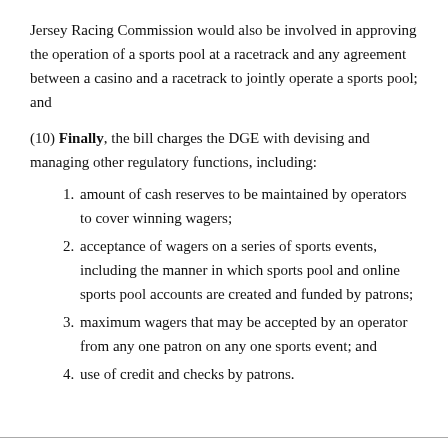Jersey Racing Commission would also be involved in approving the operation of a sports pool at a racetrack and any agreement between a casino and a racetrack to jointly operate a sports pool; and
(10) Finally, the bill charges the DGE with devising and managing other regulatory functions, including:
amount of cash reserves to be maintained by operators to cover winning wagers;
acceptance of wagers on a series of sports events, including the manner in which sports pool and online sports pool accounts are created and funded by patrons;
maximum wagers that may be accepted by an operator from any one patron on any one sports event; and
use of credit and checks by patrons.